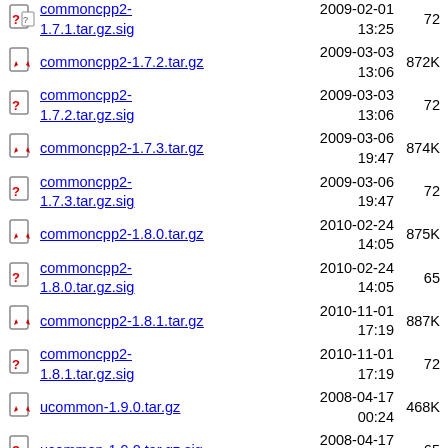commoncpp2-1.7.1.tar.gz.sig  2009-02-01 13:25  72
commoncpp2-1.7.2.tar.gz  2009-03-03 13:06  872K
commoncpp2-1.7.2.tar.gz.sig  2009-03-03 13:06  72
commoncpp2-1.7.3.tar.gz  2009-03-06 19:47  874K
commoncpp2-1.7.3.tar.gz.sig  2009-03-06 19:47  72
commoncpp2-1.8.0.tar.gz  2010-02-24 14:05  875K
commoncpp2-1.8.0.tar.gz.sig  2010-02-24 14:05  65
commoncpp2-1.8.1.tar.gz  2010-11-01 17:19  887K
commoncpp2-1.8.1.tar.gz.sig  2010-11-01 17:19  72
ucommon-1.9.0.tar.gz  2008-04-17 00:24  468K
ucommon-1.9.0.tar.gz.sig  2008-04-17 00:24  65
ucommon-1.9.1.tar.gz  2008-04-23  471K